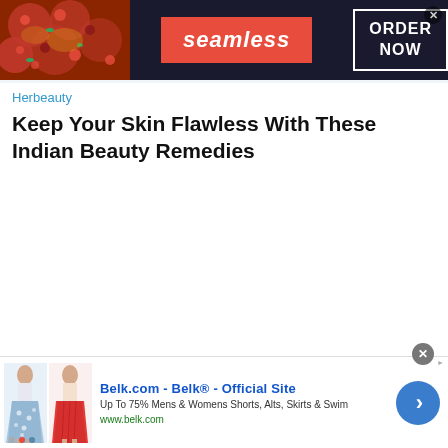[Figure (screenshot): Top banner advertisement for Seamless food delivery service. Dark background with pizza image on left, red 'seamless' badge in center, white-bordered 'ORDER NOW' box on right, and a close/X button.]
Herbeauty
Keep Your Skin Flawless With These Indian Beauty Remedies
[Figure (screenshot): Bottom banner advertisement for Belk.com showing two women in skirts (blue floral and red), Belk official site text, description about up to 75% off Mens & Womens Shorts, Alts, Skirts & Swim, www.belk.com URL, a close button, AdChoices icon, and a blue arrow circle button.]